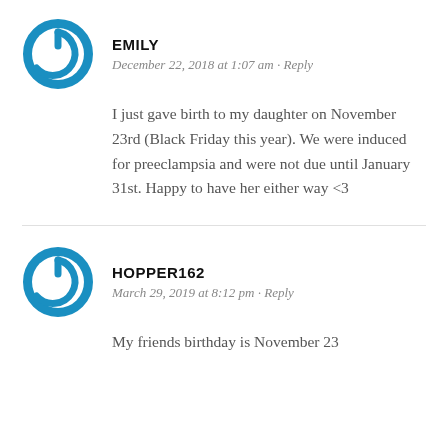[Figure (logo): Blue circular power button icon (avatar for Emily)]
EMILY
December 22, 2018 at 1:07 am · Reply
I just gave birth to my daughter on November 23rd (Black Friday this year). We were induced for preeclampsia and were not due until January 31st. Happy to have her either way <3
[Figure (logo): Blue circular power button icon (avatar for Hopper162)]
HOPPER162
March 29, 2019 at 8:12 pm · Reply
My friends birthday is November 23